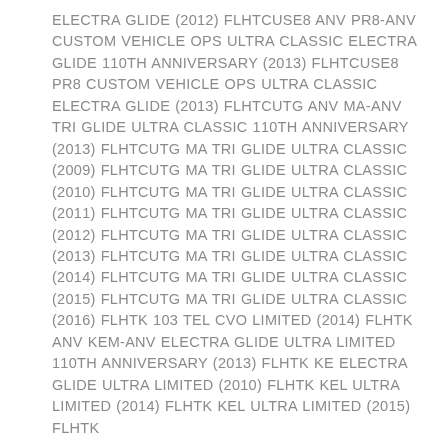ELECTRA GLIDE (2012) FLHTCUSE8 ANV PR8-ANV CUSTOM VEHICLE OPS ULTRA CLASSIC ELECTRA GLIDE 110TH ANNIVERSARY (2013) FLHTCUSE8 PR8 CUSTOM VEHICLE OPS ULTRA CLASSIC ELECTRA GLIDE (2013) FLHTCUTG ANV MA-ANV TRI GLIDE ULTRA CLASSIC 110TH ANNIVERSARY (2013) FLHTCUTG MA TRI GLIDE ULTRA CLASSIC (2009) FLHTCUTG MA TRI GLIDE ULTRA CLASSIC (2010) FLHTCUTG MA TRI GLIDE ULTRA CLASSIC (2011) FLHTCUTG MA TRI GLIDE ULTRA CLASSIC (2012) FLHTCUTG MA TRI GLIDE ULTRA CLASSIC (2013) FLHTCUTG MA TRI GLIDE ULTRA CLASSIC (2014) FLHTCUTG MA TRI GLIDE ULTRA CLASSIC (2015) FLHTCUTG MA TRI GLIDE ULTRA CLASSIC (2016) FLHTK 103 TEL CVO LIMITED (2014) FLHTK ANV KEM-ANV ELECTRA GLIDE ULTRA LIMITED 110TH ANNIVERSARY (2013) FLHTK KE ELECTRA GLIDE ULTRA LIMITED (2010) FLHTK KEL ULTRA LIMITED (2014) FLHTK KEL ULTRA LIMITED (2015) FLHTK